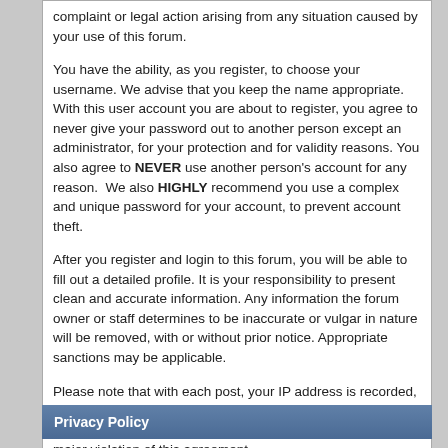complaint or legal action arising from any situation caused by your use of this forum.
You have the ability, as you register, to choose your username. We advise that you keep the name appropriate. With this user account you are about to register, you agree to never give your password out to another person except an administrator, for your protection and for validity reasons. You also agree to NEVER use another person's account for any reason.  We also HIGHLY recommend you use a complex and unique password for your account, to prevent account theft.
After you register and login to this forum, you will be able to fill out a detailed profile. It is your responsibility to present clean and accurate information. Any information the forum owner or staff determines to be inaccurate or vulgar in nature will be removed, with or without prior notice. Appropriate sanctions may be applicable.
Please note that with each post, your IP address is recorded, in the event that you need to be banned from this forum or your ISP contacted. This will only happen in the event of a major violation of this agreement.
Also note that the software places a cookie, a text file containing bits of information (such as your username and password), in your browser's cache. This is ONLY used to keep you logged in/out. The software does not collect or send any other form of information to your computer.
Privacy Policy